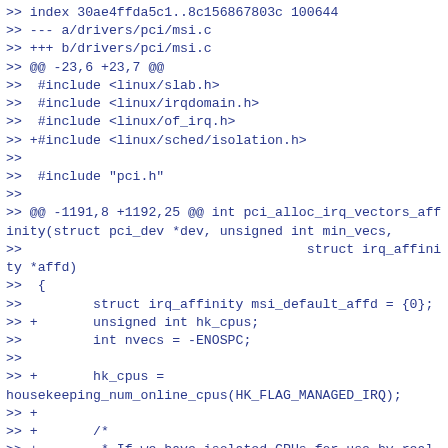>> index 30ae4ffda5c1..8c156867803c 100644
>> --- a/drivers/pci/msi.c
>> +++ b/drivers/pci/msi.c
>> @@ -23,6 +23,7 @@
>>  #include <linux/slab.h>
>>  #include <linux/irqdomain.h>
>>  #include <linux/of_irq.h>
>> +#include <linux/sched/isolation.h>
>>
>>  #include "pci.h"
>>
>> @@ -1191,8 +1192,25 @@ int pci_alloc_irq_vectors_affinity(struct pci_dev *dev, unsigned int min_vecs,
>>                                    struct irq_affinity *affd)
>>  {
>>         struct irq_affinity msi_default_affd = {0};
>> +       unsigned int hk_cpus;
>>         int nvecs = -ENOSPC;
>>
>> +       hk_cpus =
housekeeping_num_online_cpus(HK_FLAG_MANAGED_IRQ);
>> +
>> +       /*
>> +        * If we have isolated CPUs for use by real-time tasks, to keep the
>> +        * latency overhead to a minimum, device-specific IRQ vectors are moved
>> +        * to the housekeeping CPUs from the userspace